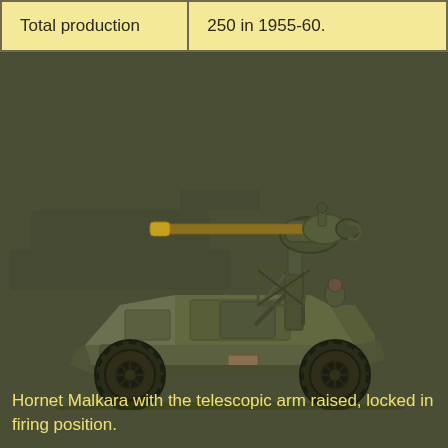| Total production | 250 in 1955-60. |
[Figure (illustration): Side-view illustration of a Hornet Malkara armored vehicle with a telescopic arm raised holding a missile, locked in firing position. The vehicle is olive/military green with large off-road tires.]
Hornet Malkara with the telescopic arm raised, locked in firing position.